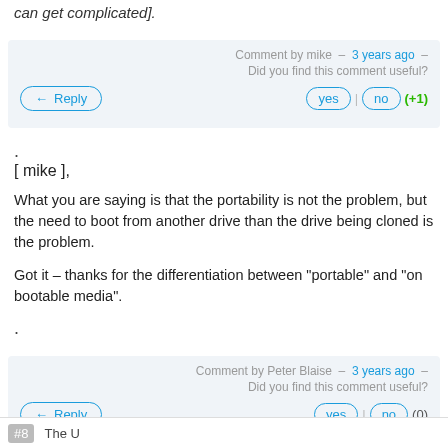can get complicated].
Comment by mike – 3 years ago – Did you find this comment useful? yes | no (+1)
. [ mike ],

What you are saying is that the portability is not the problem, but the need to boot from another drive than the drive being cloned is the problem.

Got it – thanks for the differentiation between "portable" and "on bootable media".
.
Comment by Peter Blaise – 3 years ago – Did you find this comment useful? yes | no (0)
The U...